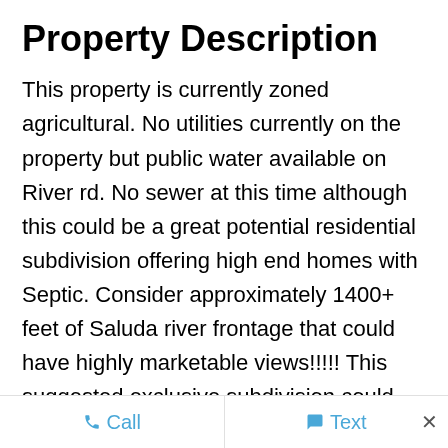Property Description
This property is currently zoned agricultural. No utilities currently on the property but public water available on River rd. No sewer at this time although this could be a great potential residential subdivision offering high end homes with Septic. Consider approximately 1400+ feet of Saluda river frontage that could have highly marketable views!!!!! This suggested exclusive subdivision could also offer as a feature an expensive looking gated entrance right off of River rd.. Sewer is possible through REWA as they have stated in the past that demand could motivate them to bring
Call   Text